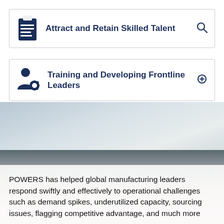Attract and Retain Skilled Talent
Training and Developing Frontline Leaders
[Figure (photo): Blurred industrial/manufacturing background photo (top section, grey-blue tones)]
[Figure (photo): Blurred industrial/powder material background photo (bottom section, muted earth tones)]
POWERS has helped global manufacturing leaders respond swiftly and effectively to operational challenges such as demand spikes, underutilized capacity, sourcing issues, flagging competitive advantage, and much more